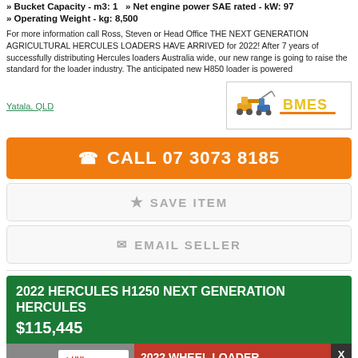» Bucket Capacity - m3: 1   » Net engine power SAE rated - kW: 97
» Operating Weight - kg: 8,500
For more information call Ross, Steven or Head Office THE NEXT GENERATION AGRICULTURAL HERCULES LOADERS HAVE ARRIVED for 2022! After 7 years of successfully distributing Hercules loaders Australia wide, our new range is going to raise the standard for the loader industry. The anticipated new H850 loader is powered
Yatala, QLD
[Figure (logo): BMES logo with construction machinery]
CALL 07 3073 8185
★ SAVE ITEM
✉ EMAIL SELLER
2022 HERCULES H1250 NEXT GENERATION HERCULES
$115,445
[Figure (infographic): 2022 Wheel Loader advertisement banner with UHI logo and price starting from $26,990 GST/INC. VIEW STOCK button.]